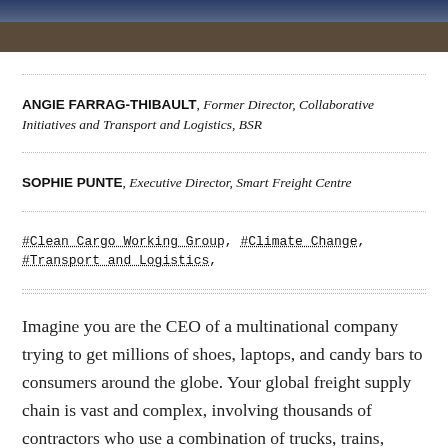[Figure (photo): Photograph of a building facade, partially visible at the top of the page, with dark tones.]
ANGIE FARRAG-THIBAULT, Former Director, Collaborative Initiatives and Transport and Logistics, BSR
SOPHIE PUNTE, Executive Director, Smart Freight Centre
#Clean Cargo Working Group, #Climate Change, #Transport and Logistics,
Imagine you are the CEO of a multinational company trying to get millions of shoes, laptops, and candy bars to consumers around the globe. Your global freight supply chain is vast and complex, involving thousands of contractors who use a combination of trucks, trains, ships,